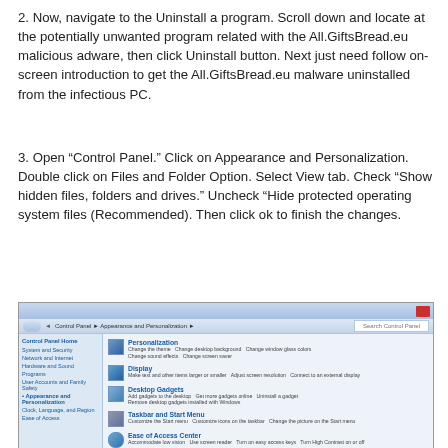2. Now, navigate to the Uninstall a program. Scroll down and locate at the potentially unwanted program related with the All.GiftsBread.eu malicious adware, then click Uninstall button. Next just need follow on-screen introduction to get the All.GiftsBread.eu malware uninstalled from the infectious PC.
3. Open “Control Panel.” Click on Appearance and Personalization. Double click on Files and Folder Option. Select View tab. Check “Show hidden files, folders and drives.” Uncheck “Hide protected operating system files (Recommended). Then click ok to finish the changes.
[Figure (screenshot): Windows 7 Control Panel showing Appearance and Personalization section with options: Personalization, Display, Desktop Gadgets, Taskbar and Start Menu, Ease of Access Center, Folder Options. Left sidebar shows Control Panel Home, System and Security, Network and Internet, Hardware and Sound, Programs, User Accounts and Family Safety, Appearance and Personalization (selected/active), Clock Language and Region, Ease of Access.]